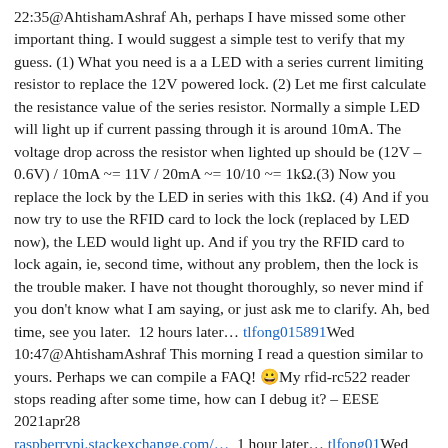22:35@AhtishamAshraf Ah, perhaps I have missed some other important thing. I would suggest a simple test to verify that my guess. (1) What you need is a a LED with a series current limiting resistor to replace the 12V powered lock. (2) Let me first calculate the resistance value of the series resistor. Normally a simple LED will light up if current passing through it is around 10mA. The voltage drop across the resistor when lighted up should be (12V – 0.6V) / 10mA ~= 11V / 20mA ~= 10/10 ~= 1kΩ.(3) Now you replace the lock by the LED in series with this 1kΩ. (4) And if you now try to use the RFID card to lock the lock (replaced by LED now), the LED would light up. And if you try the RFID card to lock again, ie, second time, without any problem, then the lock is the trouble maker. I have not thought thoroughly, so never mind if you don't know what I am saying, or just ask me to clarify. Ah, bed time, see you later.  12 hours later… tlfong015891Wed 10:47@AhtishamAshraf This morning I read a question similar to yours. Perhaps we can compile a FAQ! 🙂My rfid-rc522 reader stops reading after some time, how can I debug it? – EESE 2021apr28 raspberrypi.stackexchange.com/…  1 hour later…  tlfong01Wed